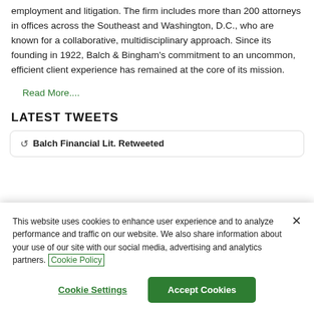employment and litigation. The firm includes more than 200 attorneys in offices across the Southeast and Washington, D.C., who are known for a collaborative, multidisciplinary approach. Since its founding in 1922, Balch & Bingham's commitment to an uncommon, efficient client experience has remained at the core of its mission.
Read More....
LATEST TWEETS
Balch Financial Lit. Retweeted
This website uses cookies to enhance user experience and to analyze performance and traffic on our website. We also share information about your use of our site with our social media, advertising and analytics partners. Cookie Policy
Cookie Settings
Accept Cookies